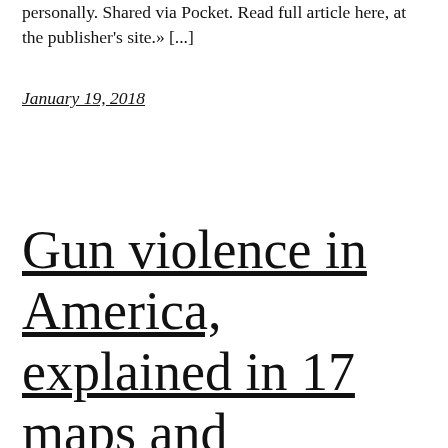personally. Shared via Pocket. Read full article here, at the publisher's site.» [...]
January 19, 2018
Gun violence in America, explained in 17 maps and